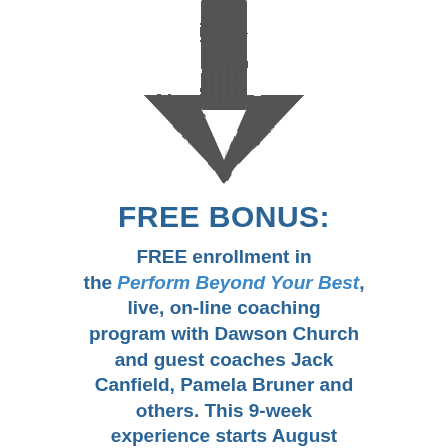[Figure (illustration): A large hand-drawn style downward-pointing arrow in dark gray/charcoal color, pointing down toward the text below.]
FREE BONUS:
FREE enrollment in the Perform Beyond Your Best, live, on-line coaching program with Dawson Church and guest coaches Jack Canfield, Pamela Bruner and others. This 9-week experience starts August 29th. Regular tuition is